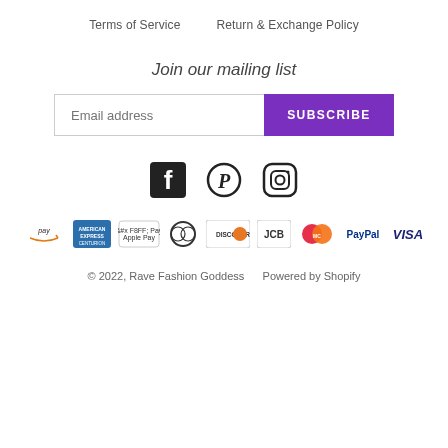Terms of Service    Return & Exchange Policy
Join our mailing list
Email address  SUBSCRIBE
[Figure (other): Social media icons: Facebook, Pinterest, Instagram]
[Figure (other): Payment method logos: Amazon Pay, American Express, Apple Pay, Diners Club, Discover, JCB, Mastercard, PayPal, Visa]
© 2022, Rave Fashion Goddess    Powered by Shopify